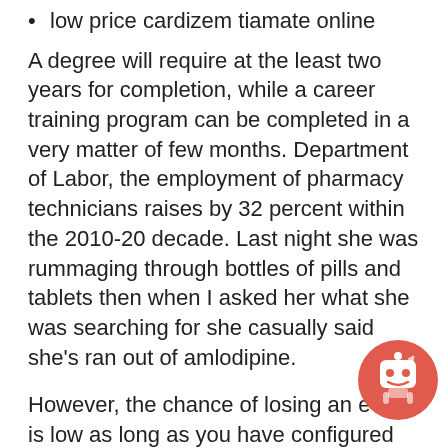low price cardizem tiamate online
A degree will require at the least two years for completion, while a career training program can be completed in a very matter of few months. Department of Labor, the employment of pharmacy technicians raises by 32 percent within the 2010-20 decade. Last night she was rummaging through bottles of pills and tablets then when I asked her what she was searching for she casually said she's ran out of amlodipine.
However, the chance of losing an e-mail is low as long as you have configured the email client not to to automatically delete junk messages, and add important senders to accepted lists. When you a on the pharmacy counter, whether it be to drop or pick-up put your phone down. Our pharmacy